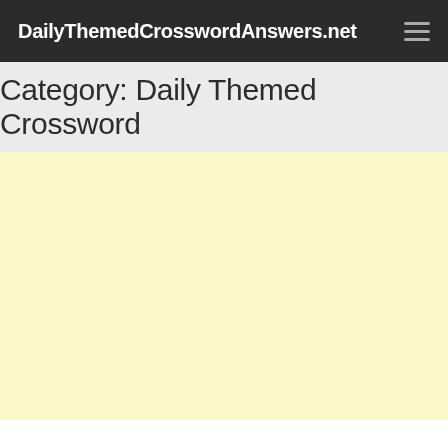DailyThemedCrosswordAnswers.net
Category: Daily Themed Crossword
[Figure (other): Light yellow advertisement/content placeholder area]